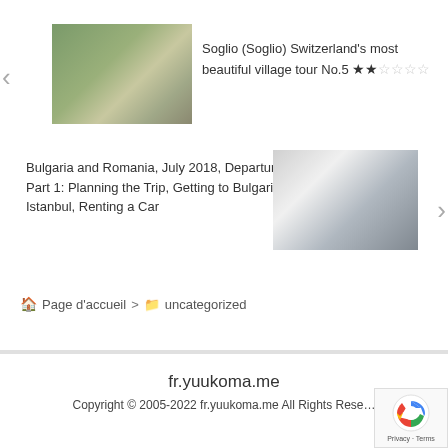[Figure (photo): Thumbnail photo of Soglio village Switzerland — stone buildings and trees]
Soglio (Soglio) Switzerland's most beautiful village tour No.5 ★★☆☆☆☆
Bulgaria and Romania, July 2018, Departure Part 1: Planning the Trip, Getting to Bulgaria via Istanbul, Renting a Car
[Figure (photo): Thumbnail photo of a white car (rental) in a parking area]
🏠 Page d'accueil > 📁 uncategorized
fr.yuukoma.me
Copyright © 2005-2022 fr.yuukoma.me All Rights Reserved